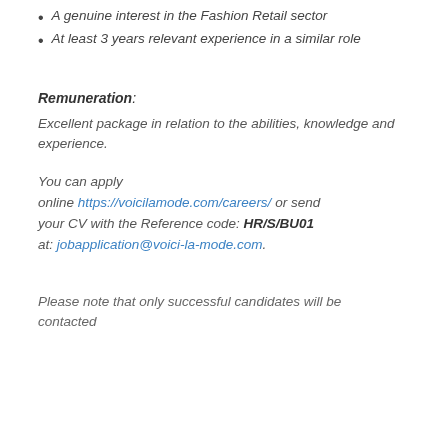A genuine interest in the Fashion Retail sector
At least 3 years relevant experience in a similar role
Remuneration:
Excellent package in relation to the abilities, knowledge and experience.
You can apply online https://voicilamode.com/careers/ or send your CV with the Reference code: HR/S/BU01 at: jobapplication@voici-la-mode.com.
Please note that only successful candidates will be contacted